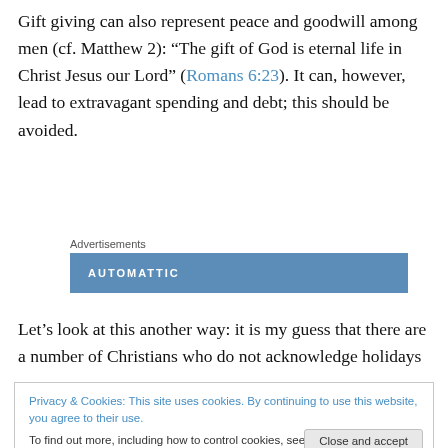Gift giving can also represent peace and goodwill among men (cf. Matthew 2): “The gift of God is eternal life in Christ Jesus our Lord” (Romans 6:23). It can, however, lead to extravagant spending and debt; this should be avoided.
[Figure (other): Automattic advertisement banner with blue background and white uppercase text reading AUTOMATTIC, labeled Advertisements above]
Let’s look at this another way: it is my guess that there are a number of Christians who do not acknowledge holidays
Privacy & Cookies: This site uses cookies. By continuing to use this website, you agree to their use. To find out more, including how to control cookies, see here: Cookie Policy